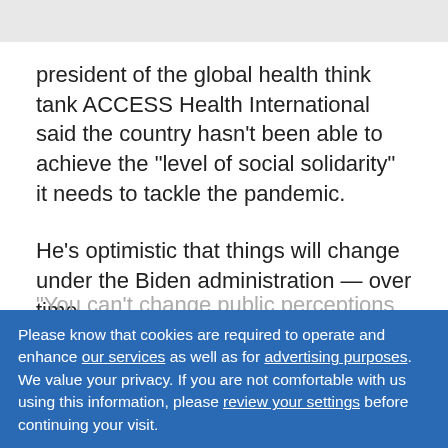president of the global health think tank ACCESS Health International said the country hasn't been able to achieve the "level of social solidarity" it needs to tackle the pandemic.
He's optimistic that things will change under the Biden administration — over time.
"You can't change public perceptions immediately, but you can through persistent, patient messaging with...
Please know that cookies are required to operate and enhance our services as well as for advertising purposes. We value your privacy. If you are not comfortable with us using this information, please review your settings before continuing your visit.
"The divisions over COVID have been political more than they've been medical or [related to] public health," he added. "I think with the new administration